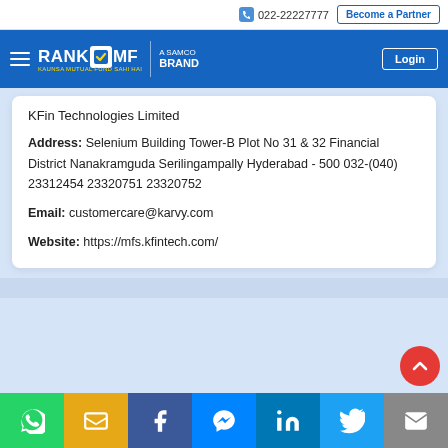022-22227777  Become a Partner
[Figure (logo): RankMF - A Samco Brand logo with hamburger menu and Login button on blue navigation bar]
KFin Technologies Limited
Address: Selenium Building Tower-B Plot No 31 & 32 Financial District Nanakramguda Serilingampally Hyderabad - 500 032-(040) 23312454 23320751 23320752
Email: customercare@karvy.com
Website: https://mfs.kfintech.com/
[Figure (other): Social sharing buttons bar: WhatsApp (green), SMS (yellow), Facebook (blue), Messenger (light blue), LinkedIn (dark blue), Twitter (blue), Email (grey)]